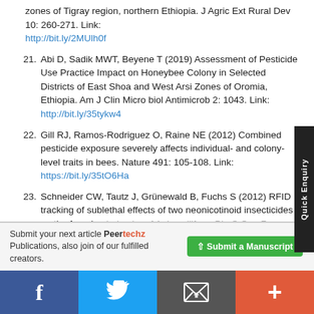zones of Tigray region, northern Ethiopia. J Agric Ext Rural Dev 10: 260-271. Link: http://bit.ly/2MUlh0f
21. Abi D, Sadik MWT, Beyene T (2019) Assessment of Pesticide Use Practice Impact on Honeybee Colony in Selected Districts of East Shoa and West Arsi Zones of Oromia, Ethiopia. Am J Clin Micro biol Antimicrob 2: 1043. Link: http://bit.ly/35tykw4
22. Gill RJ, Ramos-Rodriguez O, Raine NE (2012) Combined pesticide exposure severely affects individual- and colony-level traits in bees. Nature 491: 105-108. Link: https://bit.ly/35tO6Ha
23. Schneider CW, Tautz J, Grünewald B, Fuchs S (2012) RFID tracking of sublethal effects of two neonicotinoid insecticides on the foraging behavior of Apismellifera. PLoS One 7: e30023.
Submit your next article Peertechz Publications, also join of our fulfilled creators.
[Figure (infographic): Social media share bar at bottom with Facebook, Twitter, Email, and Plus icons]